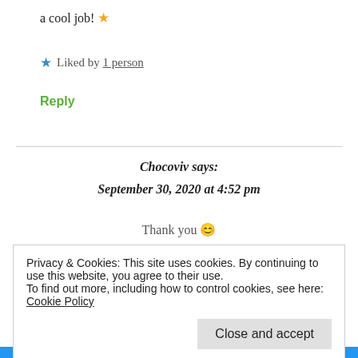a cool job! ⭐
★ Liked by 1 person
Reply
Chocoviv says: September 30, 2020 at 4:52 pm
Thank you 😊
Privacy & Cookies: This site uses cookies. By continuing to use this website, you agree to their use. To find out more, including how to control cookies, see here: Cookie Policy
Close and accept